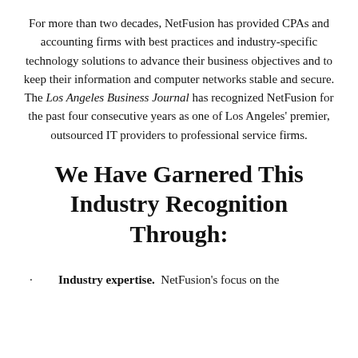For more than two decades, NetFusion has provided CPAs and accounting firms with best practices and industry-specific technology solutions to advance their business objectives and to keep their information and computer networks stable and secure. The Los Angeles Business Journal has recognized NetFusion for the past four consecutive years as one of Los Angeles' premier, outsourced IT providers to professional service firms.
We Have Garnered This Industry Recognition Through:
Industry expertise. NetFusion's focus on the